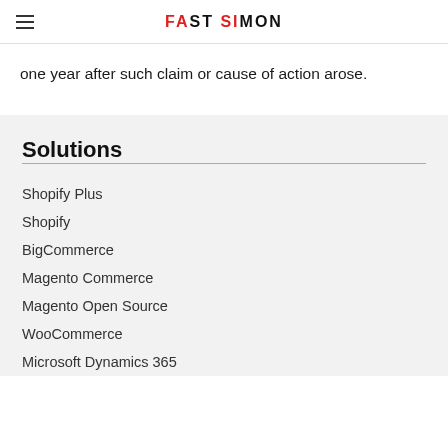FAST SIMON
one year after such claim or cause of action arose.
Solutions
Shopify Plus
Shopify
BigCommerce
Magento Commerce
Magento Open Source
WooCommerce
Microsoft Dynamics 365